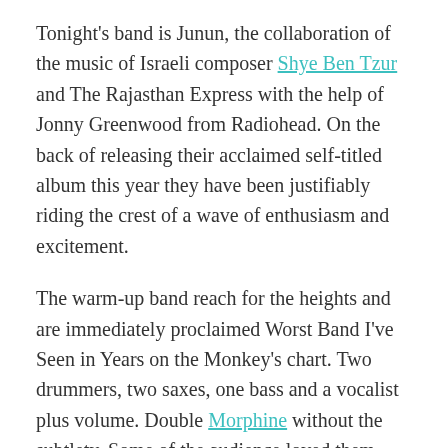Tonight's band is Junun, the collaboration of the music of Israeli composer Shye Ben Tzur and The Rajasthan Express with the help of Jonny Greenwood from Radiohead. On the back of releasing their acclaimed self-titled album this year they have been justifiably riding the crest of a wave of enthusiasm and excitement.
The warm-up band reach for the heights and are immediately proclaimed Worst Band I've Seen in Years on the Monkey's chart. Two drummers, two saxes, one bass and a vocalist plus volume. Double Morphine without the subtlety. Some of the audience loved them though so I guess that's good enough.
But the anticipation of the evening is rising for Junun and they take the stage to huge applause. The audience is only 3/4 full but that's okay. I'm sure we all feel that we